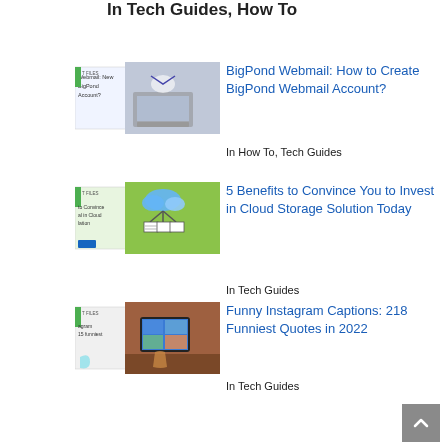In Tech Guides, How To
[Figure (illustration): Thumbnail for BigPond Webmail article showing webmail interface screenshot]
BigPond Webmail: How to Create BigPond Webmail Account?
In How To, Tech Guides
[Figure (illustration): Thumbnail for Cloud Storage article showing cloud storage diagram on green background]
5 Benefits to Convince You to Invest in Cloud Storage Solution Today
In Tech Guides
[Figure (illustration): Thumbnail for Funny Instagram Captions article showing person using tablet]
Funny Instagram Captions: 218 Funniest Quotes in 2022
In Tech Guides